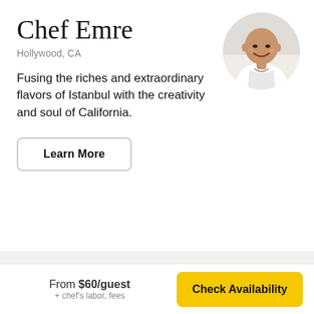Chef Emre
Hollywood, CA
[Figure (photo): Circular profile photo of Chef Emre, a bald man in a white chef's coat, smiling]
Fusing the riches and extraordinary flavors of Istanbul with the creativity and soul of California.
Learn More
Fully Customizable
This menu is just a starting point. Inquire for
From $60/guest + chef's labor, fees
Check Availability